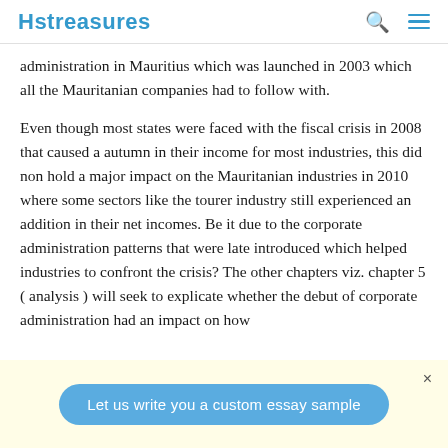Hstreasures
administration in Mauritius which was launched in 2003 which all the Mauritanian companies had to follow with.
Even though most states were faced with the fiscal crisis in 2008 that caused a autumn in their income for most industries, this did non hold a major impact on the Mauritanian industries in 2010 where some sectors like the tourer industry still experienced an addition in their net incomes. Be it due to the corporate administration patterns that were late introduced which helped industries to confront the crisis? The other chapters viz. chapter 5 ( analysis ) will seek to explicate whether the debut of corporate administration had an impact on how...
Let us write you a custom essay sample